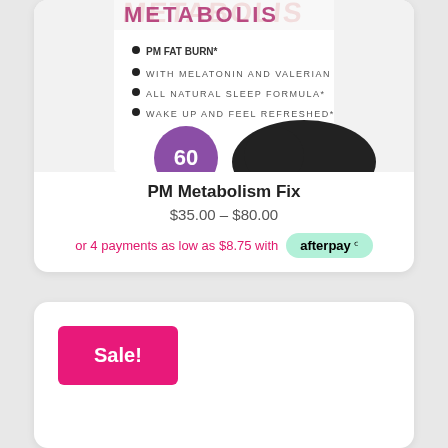[Figure (photo): Product image of PM Metabolism Fix supplement bottle, partially cropped. White bottle with pink/purple 'METABOLISM' text, bullet points: PM FAT BURN*, WITH MELATONIN AND VALERIAN, ALL NATURAL SLEEP FORMULA*, WAKE UP AND FEEL REFRESHED*. Purple circle with '60' and black blob shape visible at bottom.]
PM Metabolism Fix
$35.00 – $80.00
or 4 payments as low as $8.75 with afterpay
Sale!